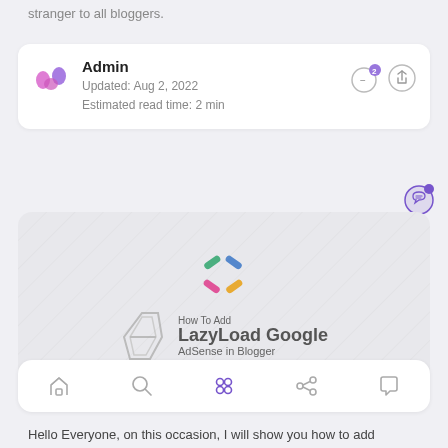stranger to all bloggers.
Admin
Updated: Aug 2, 2022
Estimated read time: 2 min
[Figure (screenshot): Featured article image showing 'How To Add LazyLoad Google AdSense in Blogger' with colorful icon and www.smarttechmukesh.com URL]
[Figure (other): Bottom navigation toolbar with 5 icon buttons]
Hello Everyone, on this occasion, I will show you how to add